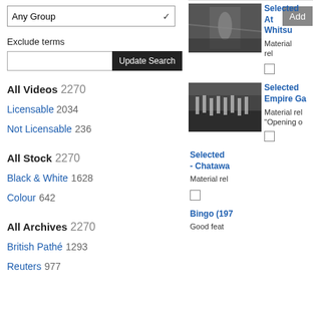Any Group (dropdown)
Exclude terms
Update Search (button)
All Videos 2270
Licensable 2034
Not Licensable 236
All Stock 2270
Black & White 1628
Colour 642
All Archives 2270
British Pathé 1293
Reuters 977
Add (button)
[Figure (photo): Black and white photo of a runner at a sporting event]
Selected At Whitsu...
Material rel...
[Figure (photo): Black and white photo of marching band or parade at Empire Games]
Selected Empire Ga...
Material rel... "Opening o...
Selected - Chatawa...
Material rel...
Bingo (197...
Good feat...